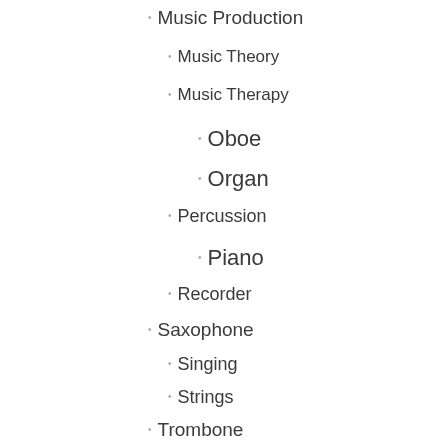Music Production
Music Theory
Music Therapy
Oboe
Organ
Percussion
Piano
Recorder
Saxophone
Singing
Strings
Trombone
Trumpet
Tuba